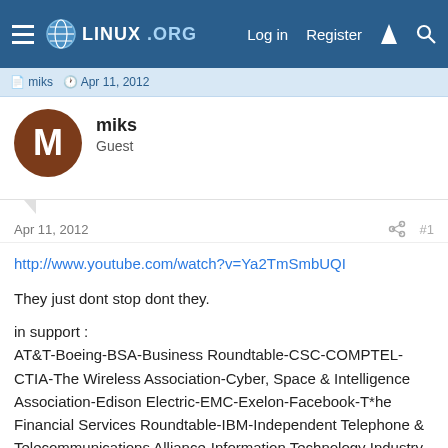LINUX.ORG — Log in  Register
miks · Apr 11, 2012
miks
Guest
Apr 11, 2012  #1
http://www.youtube.com/watch?v=Ya2TmSmbUQI
They just dont stop dont they.
in support :
AT&T-Boeing-BSA-Business Roundtable-CSC-COMPTEL-CTIA-The Wireless Association-Cyber, Space & Intelligence Association-Edison Electric-EMC-Exelon-Facebook-T*he Financial Services Roundtable-IBM-Independent Telephone & Telecommunications Alliance-Information Technology Industry Council-Intel-Internet Security Alliance-Lockheed Martin-Microsoft-National Cable & Telecommunications Association-